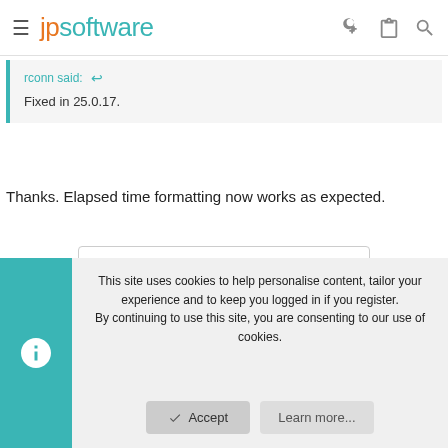jpsoftware
rconn said:
Fixed in 25.0.17.
Thanks. Elapsed time formatting now works as expected.
You must log in or register to reply here.
Similar threads
This site uses cookies to help personalise content, tailor your experience and to keep you logged in if you register.
By continuing to use this site, you are consenting to our use of cookies.